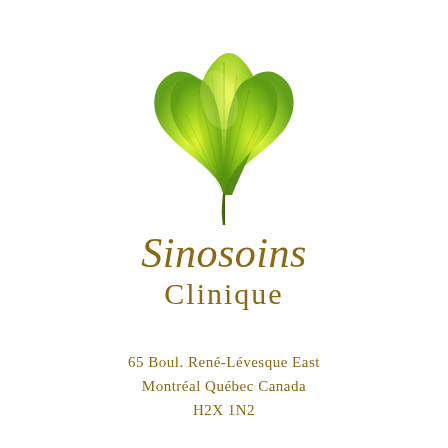[Figure (logo): Ginkgo biloba leaf illustration in bright yellow-green gradient, fan-shaped leaf with veins, narrow stem at bottom, used as clinic logo]
Sinosoins Clinique
65 Boul. René-Lévesque East
Montréal Québec Canada
H2X 1N2